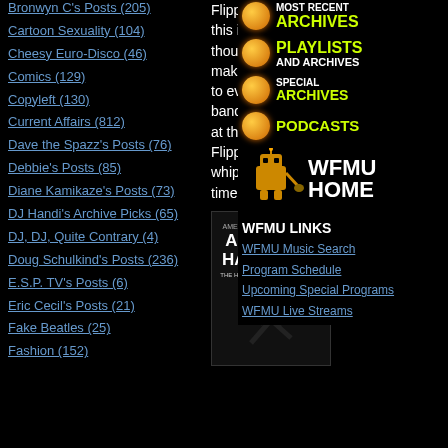Bronwyn C's Posts (205)
Cartoon Sexuality (104)
Cheesy Euro-Disco (46)
Comics (129)
Copyleft (130)
Current Affairs (812)
Dave the Spazz's Posts (76)
Debbie's Posts (85)
Diane Kamikaze's Posts (73)
DJ Handi's Archive Picks (65)
DJ, DJ, Quite Contrary (4)
Doug Schulkind's Posts (236)
E.S.P. TV's Posts (6)
Eric Cecil's Posts (21)
Fake Beatles (25)
Fashion (152)
Flipper.” “Wait! You know who this is?” someone else asked. I thought they were kidding, or just making fun of my general inability to ever remember the names of bands I like, but no—NO ONE—at that table had ever heard of Flipper before. Gol-durned whippersnappers! It was the first time I ever felt old.
[Figure (illustration): Book cover for American Hardcore: The History of American Punk Rock 1980-1986]
[Figure (infographic): WFMU Most Recent Archives button with orange dot]
[Figure (infographic): WFMU Playlists and Archives button with orange dot]
[Figure (infographic): WFMU Special Archives button with orange dot]
[Figure (infographic): WFMU Podcasts button with orange dot]
[Figure (logo): WFMU HOME logo with robot mascot]
WFMU LINKS
WFMU Music Search
Program Schedule
Upcoming Special Programs
WFMU Live Streams